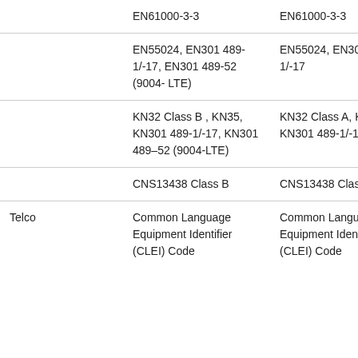|  |  |  |
| --- | --- | --- |
|  | EN61000-3-3 | EN61000-3-3 |
|  | EN55024, EN301 489-1/-17, EN301 489-52 (9004- LTE) | EN55024, EN301 489-1/-17 |
|  | KN32 Class B , KN35, KN301 489-1/-17, KN301 489-52 (9004-LTE) | KN32 Class A, KN35, KN301 489-1/-17 |
|  | CNS13438 Class B | CNS13438 Class A |
| Telco | Common Language Equipment Identifier (CLEI) Code | Common Language Equipment Identifier (CLEI) Code |